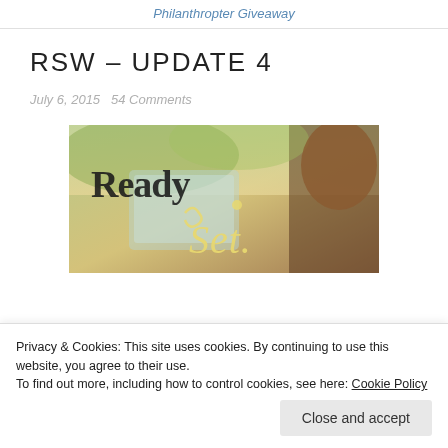Philanthropter Giveaway
RSW – UPDATE 4
July 6, 2015   54 Comments
[Figure (photo): Ready Set photo with decorative typography on a warm outdoor background with a child]
Privacy & Cookies: This site uses cookies. By continuing to use this website, you agree to their use.
To find out more, including how to control cookies, see here: Cookie Policy
Close and accept